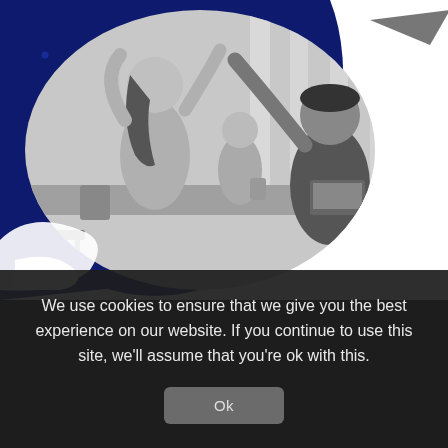[Figure (photo): Black and white office photo showing people giving a high-five across a desk, with a dark navy blue decorative background blob and dots. The photo has an organic rounded/blob shape cropped.]
We use cookies to ensure that we give you the best experience on our website. If you continue to use this site, we'll assume that you're ok with this.
Ok